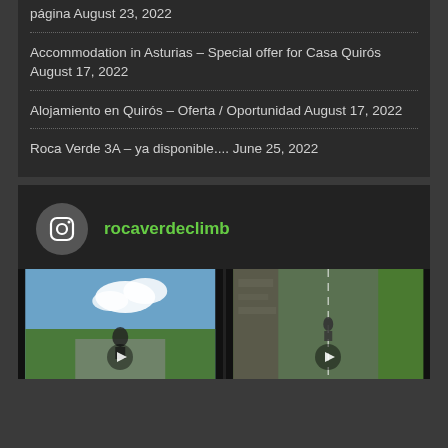página August 23, 2022
Accommodation in Asturias – Special offer for Casa Quirós August 17, 2022
Alojamiento en Quirós – Oferta / Oportunidad August 17, 2022
Roca Verde 3A – ya disponible.... June 25, 2022
[Figure (screenshot): Instagram widget showing rocaverdeclimb profile with two video thumbnails of cycling on mountain roads]